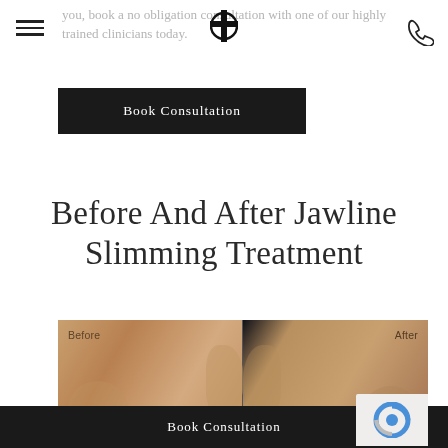you, book a no obligation consultation with one of our highly trained clinicians today.
Book Consultation
Before And After Jawline Slimming Treatment
[Figure (photo): Side-by-side before and after photos of a jawline slimming treatment showing the patient's lower face profile. Left side labeled 'Before', right side labeled 'After'.]
Book Consultation